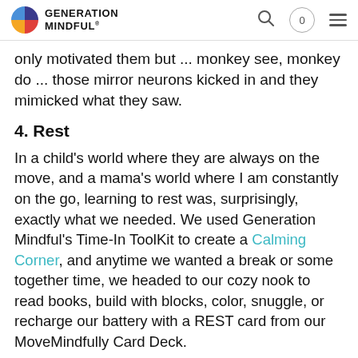GENERATION MINDFUL
only motivated them but ... monkey see, monkey do ... those mirror neurons kicked in and they mimicked what they saw.
4. Rest
In a child's world where they are always on the move, and a mama's world where I am constantly on the go, learning to rest was, surprisingly, exactly what we needed. We used Generation Mindful's Time-In ToolKit to create a Calming Corner, and anytime we wanted a break or some together time, we headed to our cozy nook to read books, build with blocks, color, snuggle, or recharge our battery with a REST card from our MoveMindfully Card Deck.
The ToolKit comes with colorful feelings